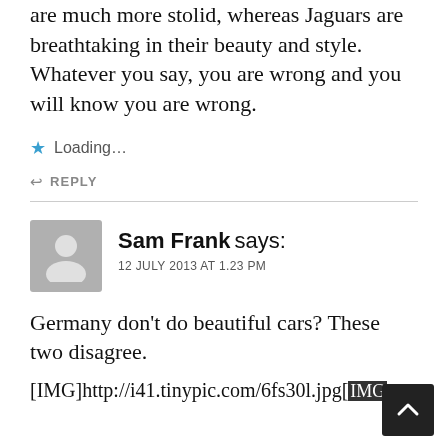are much more stolid, whereas Jaguars are breathtaking in their beauty and style. Whatever you say, you are wrong and you will know you are wrong.
★ Loading...
↩ REPLY
Sam Frank says:
12 JULY 2013 AT 1.23 PM
Germany don't do beautiful cars? These two disagree.
[IMG]http://i41.tinypic.com/6fs30l.jpg[IMG]